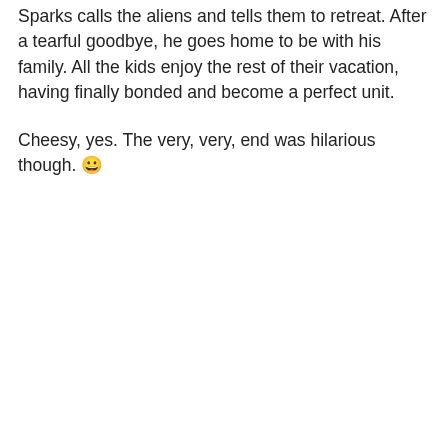Sparks calls the aliens and tells them to retreat. After a tearful goodbye, he goes home to be with his family. All the kids enjoy the rest of their vacation, having finally bonded and become a perfect unit.
Cheesy, yes. The very, very, end was hilarious though. 😀